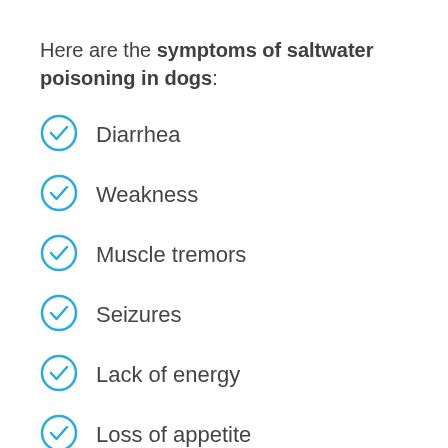Here are the symptoms of saltwater poisoning in dogs:
Diarrhea
Weakness
Muscle tremors
Seizures
Lack of energy
Loss of appetite
Excessive thirst (partially visible)